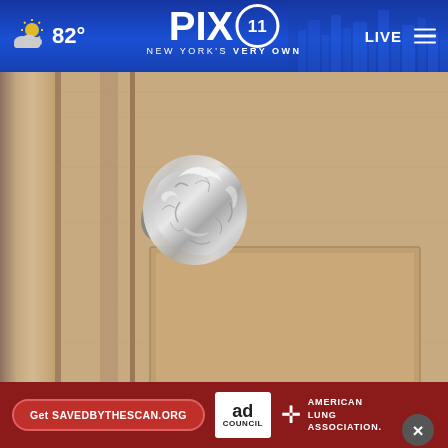PIX11 NEW YORK'S VERY OWN | 82° | LIVE
[Figure (photo): A door knob covered in crumpled aluminum foil on a beige/tan interior door]
Wrap Foil Around Your Doorknob at Night if Alone, Here's Why
So go...
[Figure (infographic): Red advertisement banner: Get SAVEDBYTHESCAN.ORG | Ad Council | American Lung Association]